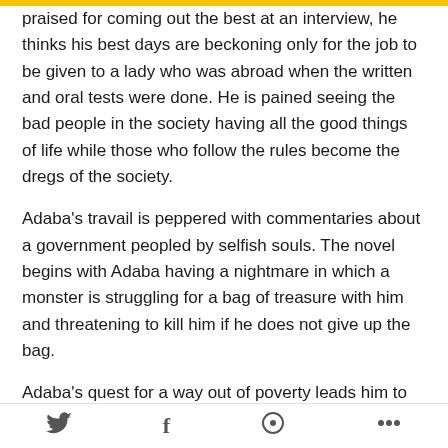praised for coming out the best at an interview, he thinks his best days are beckoning only for the job to be given to a lady who was abroad when the written and oral tests were done. He is pained seeing the bad people in the society having all the good things of life while those who follow the rules become the dregs of the society.
Adaba's travail is peppered with commentaries about a government peopled by selfish souls. The novel begins with Adaba having a nightmare in which a monster is struggling for a bag of treasure with him and threatening to kill him if he does not give up the bag.
Adaba's quest for a way out of poverty leads him to an old school mate who only a few years after graduation is living large with two cars to cruise about town and enough cash to paint the town red. Ideku helps out but hooliganism soon kills his hope and he is naked, once again at a time trouble decides
social share icons